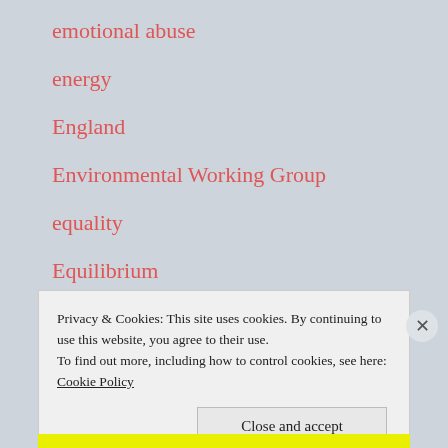emotional abuse
energy
England
Environmental Working Group
equality
Equilibrium
erectile dysfunction
Eric Bana
Privacy & Cookies: This site uses cookies. By continuing to use this website, you agree to their use.
To find out more, including how to control cookies, see here: Cookie Policy
Close and accept